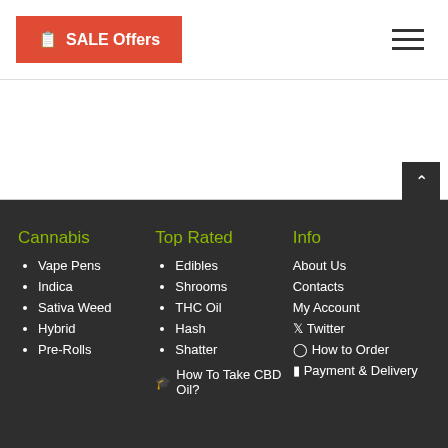SALE Offers
Cannabis: Vape Pens, Indica, Sativa Weed, Hybrid, Pre-Rolls
Top Rated: Edibles, Shrooms, THC Oil, Hash, Shatter
How To Take CBD Oil?
Info: About Us, Contacts, My Account, Twitter, How to Order, Payment & Delivery